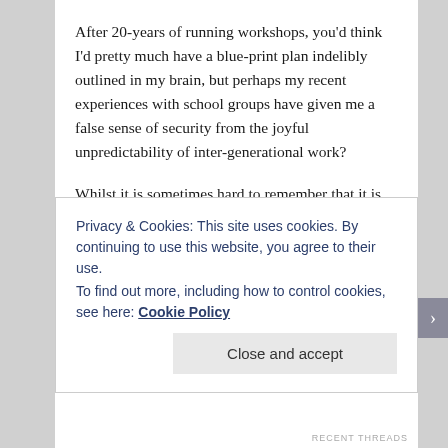After 20-years of running workshops, you'd think I'd pretty much have a blue-print plan indelibly outlined in my brain, but perhaps my recent experiences with school groups have given me a false sense of security from the joyful unpredictability of inter-generational work?
Whilst it is sometimes hard to remember that it is enjoyable when staring down the barrel of a situation you hadn't quite planned for, it is the nature of the work and one of the main reasons why the itchy-blood syndrome of desk-sitting no longer became manageable and the shift to freelance was imperative for me. However, with future project possibilities starting to take shape, it's worth
Privacy & Cookies: This site uses cookies. By continuing to use this website, you agree to their use.
To find out more, including how to control cookies, see here: Cookie Policy
Close and accept